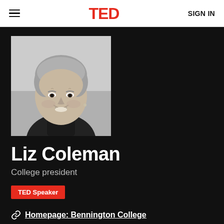TED | SIGN IN
[Figure (photo): Black and white portrait photo of Liz Coleman, a woman with short gray hair, smiling, wearing a dark turtleneck.]
Liz Coleman
College president
TED Speaker
Homepage: Bennington College